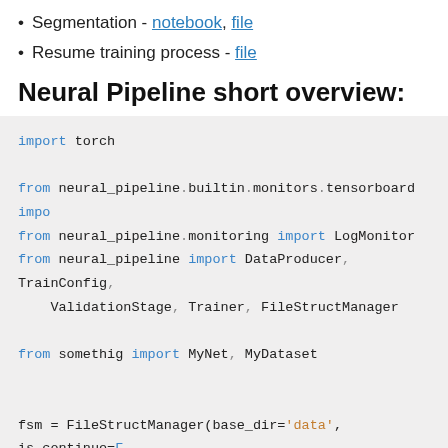Segmentation - notebook, file
Resume training process - file
Neural Pipeline short overview:
import torch

from neural_pipeline.builtin.monitors.tensorboard impo
from neural_pipeline.monitoring import LogMonitor
from neural_pipeline import DataProducer, TrainConfig,
    ValidationStage, Trainer, FileStructManager

from somethig import MyNet, MyDataset

fsm = FileStructManager(base_dir='data', is_continue=F
model = MyNet().cuda()

train_dataset = DataProducer([MyDataset()], batch_size